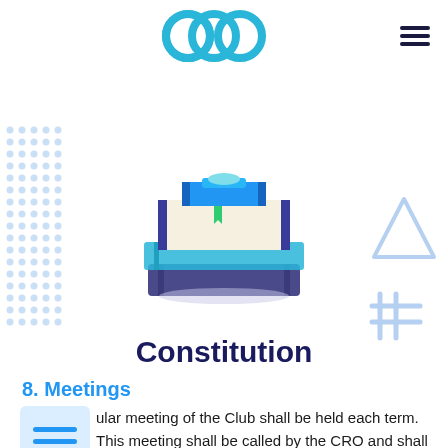[Figure (illustration): Stack of books illustration with blue, navy, and cream colored books]
Constitution
8. Meetings
A regular meeting of the Club shall be held each term. This meeting shall be called by the CRO and shall be the election meeting for that term.